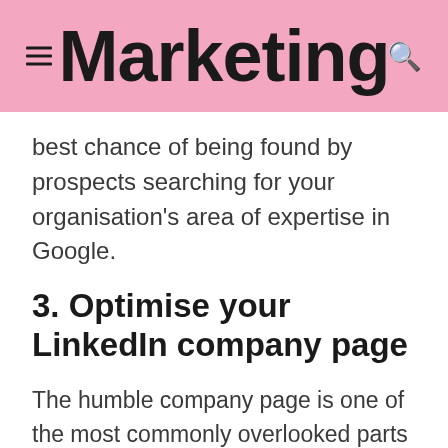Marketing
best chance of being found by prospects searching for your organisation's area of expertise in Google.
3. Optimise your LinkedIn company page
The humble company page is one of the most commonly overlooked parts of LinkedIn. What many organisations don't realise is that this page can be an effective way to send targeted traffic straight to their website. And while the majority do include basic information about their organisation – such as the industry, location and even the size of their